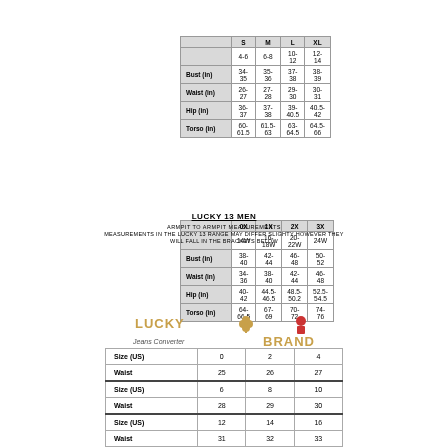|  | S | M | L | XL |
| --- | --- | --- | --- | --- |
|  | 4-6 | 6-8 | 10-12 | 12-14 |
| Bust (in) | 34-35 | 35-36 | 37-38 | 38-39 |
| Waist (in) | 26-27 | 27-28 | 29-30 | 30-31 |
| Hip (in) | 36-37 | 37-38 | 39-40.5 | 40.5-42 |
| Torso (in) | 60-61.5 | 61.5-63 | 63-64.5 | 64.5-66 |
|  | 0X | 1X | 2X | 3X |
| --- | --- | --- | --- | --- |
|  | 14W | 16-18W | 20-22W | 24W |
| Bust (in) | 38-40 | 42-44 | 46-48 | 50-52 |
| Waist (in) | 34-36 | 38-40 | 42-44 | 46-48 |
| Hip (in) | 40-42 | 44.5-46.5 | 48.5-50.2 | 52.5-54.5 |
| Torso (in) | 64-66.5 | 67-69 | 70-72 | 74-76 |
LUCKY 13 MEN
ARMPIT TO ARMPIT MEASUREMENTS
MEASUREMENTS IN THE LUCKY 13 RANGE MAY DIFFER SLIGHTY HOWEVER THEY WILL FALL IN THE BRACKETS BELOW
| SMALL | 46 CM |
| MEDIUM | 51 CM |
| LARGE | 56 CM |
| XL | 61CM |
| 2 XL | 69 CM |
| 3XL | 73 CM |
| 4XL | 77 CM |
[Figure (logo): Lucky Brand logo with clover icon and cartoon figure]
Jeans Converter
| Size (US) | 0 | 2 | 4 |
| --- | --- | --- | --- |
| Waist | 25 | 26 | 27 |
| Size (US) | 6 | 8 | 10 |
| Waist | 28 | 29 | 30 |
| Size (US) | 12 | 14 | 16 |
| Waist | 31 | 32 | 33 |